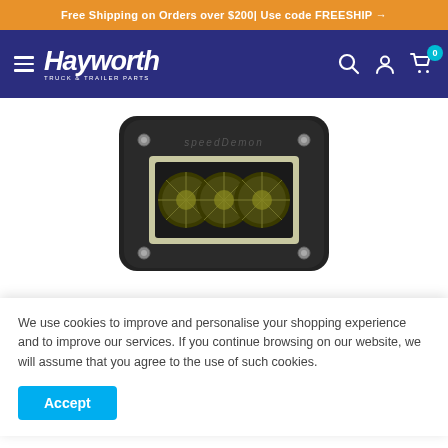Free Shipping on Orders over $200| Use code FREESHIP →
[Figure (logo): Hayworth Truck & Trailer Parts logo with navigation icons (hamburger menu, search, account, cart with 0 badge) on dark blue navbar]
[Figure (photo): Close-up photo of a SpeedDemon LED light bar, rectangular black housing with three circular LED lenses visible, metallic silver surround, mounted flush]
We use cookies to improve and personalise your shopping experience and to improve our services. If you continue browsing on our website, we will assume that you agree to the use of such cookies.
Accept